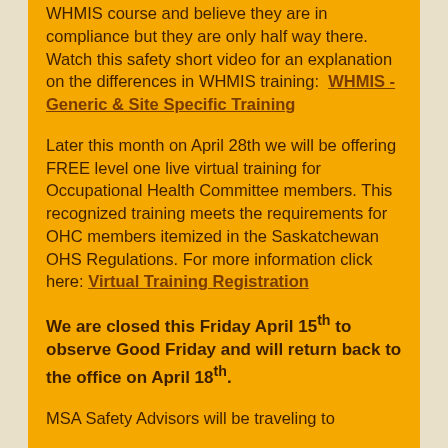WHMIS course and believe they are in compliance but they are only half way there. Watch this safety short video for an explanation on the differences in WHMIS training:  WHMIS - Generic & Site Specific Training
Later this month on April 28th we will be offering FREE level one live virtual training for Occupational Health Committee members. This recognized training meets the requirements for OHC members itemized in the Saskatchewan OHS Regulations. For more information click here: Virtual Training Registration
We are closed this Friday April 15th to observe Good Friday and will return back to the office on April 18th.
MSA Safety Advisors will be traveling to